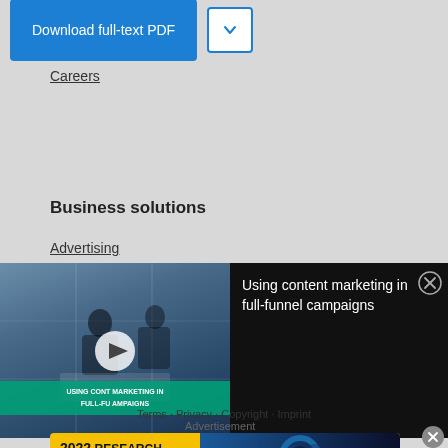[Figure (screenshot): Blue 'Download full-text PDF' button and a white chevron dropdown button]
Careers
Business solutions
Advertising
[Figure (screenshot): Video overlay showing 'Using content marketing in full-funnel campaigns' with a thumbnail on the left showing people in an office and a dark panel on the right with the title text and a close button]
Terms · Privacy · Copyright · Imprint
Advertisement
[Figure (screenshot): Bottom banner ad: '2022 RESEARCH GRANTS Apply' with teal apply button, yellow-gold left section and dark blue right section with abstract sphere graphic]